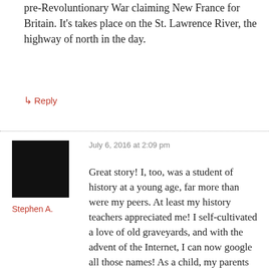pre-Revoluntionary War claiming New France for Britain. It's takes place on the St. Lawrence River, the highway of north in the day.
↳ Reply
July 6, 2016 at 2:09 pm
[Figure (photo): Black square avatar image for user Stephen A.]
Stephen A.
Great story! I, too, was a student of history at a young age, far more than were my peers. At least my history teachers appreciated me! I self-cultivated a love of old graveyards, and with the advent of the Internet, I can now google all those names! As a child, my parents made sure I visited all the Civil War and then Revolutionary War sites up and down the east coast as we